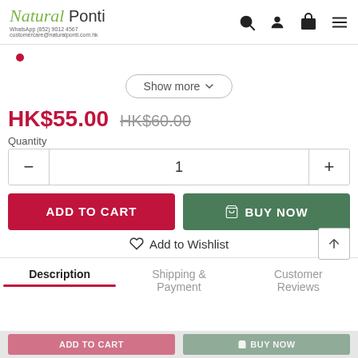[Figure (screenshot): Natural Ponti e-commerce website header with logo, search icon, user icon, cart icon, and hamburger menu]
Show more
HK$55.00  HK$60.00
Quantity
1
ADD TO CART
BUY NOW
Add to Wishlist
Description
Shipping & Payment
Customer Reviews